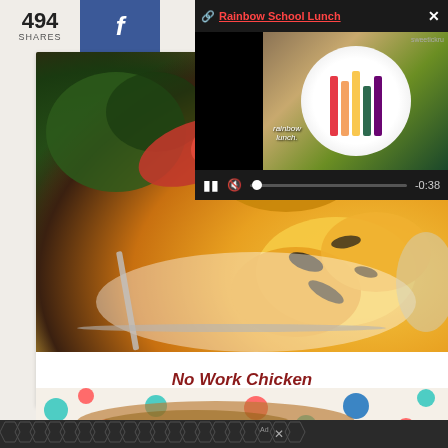494 SHARES
[Figure (screenshot): Facebook share button with blue background and white F icon]
[Figure (screenshot): Video popup overlay titled 'Rainbow School Lunch' showing a plate with colorful vegetables, with playback controls showing -0:38 timestamp]
[Figure (photo): Close-up photo of grilled/roasted food items including vegetables and what appears to be grilled chicken or squash on a white plate with fork]
No Work Chicken
[Figure (photo): Partial view of food on a polka dot background with colorful dots in teal, red, and blue]